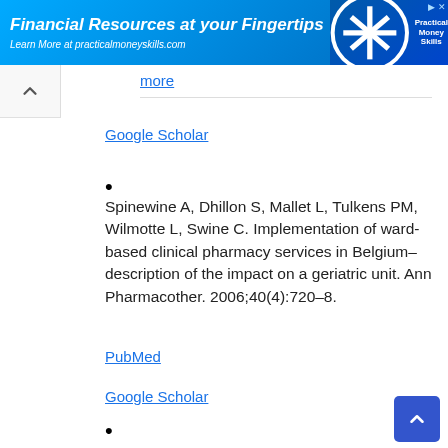[Figure (other): Advertisement banner: Financial Resources at your Fingertips - Learn More at practicalmoneyskills.com with Practical Money Skills logo]
more
Google Scholar
Spinewine A, Dhillon S, Mallet L, Tulkens PM, Wilmotte L, Swine C. Implementation of ward-based clinical pharmacy services in Belgium–description of the impact on a geriatric unit. Ann Pharmacother. 2006;40(4):720–8.
PubMed
Google Scholar
•